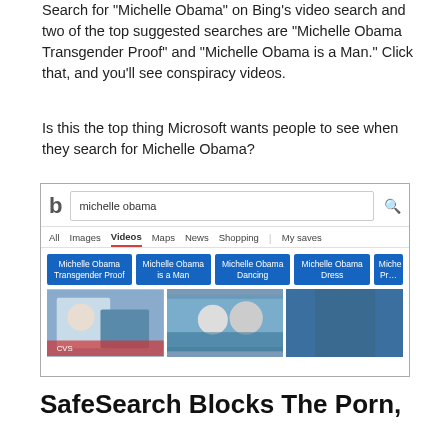Search for “Michelle Obama” on Bing’s video search and two of the top suggested searches are “Michelle Obama Transgender Proof” and “Michelle Obama is a Man.” Click that, and you’ll see conspiracy videos.
Is this the top thing Microsoft wants people to see when they search for Michelle Obama?
[Figure (screenshot): Screenshot of Bing video search results for 'michelle obama', showing the Videos tab selected, suggested search chips including 'Michelle Obama Transgender Proof', 'Michelle Obama is a Man', 'Michelle Obama Dancing', 'Michelle Obama Dress', and partially visible fifth chip, along with video thumbnails below.]
SafeSearch Blocks The Porn,